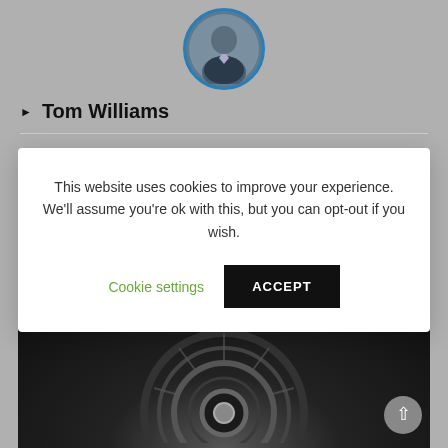[Figure (photo): Circular profile photo of Tom Williams with blue border, partially visible at top center of page]
Tom Williams
This website uses cookies to improve your experience. We'll assume you're ok with this, but you can opt-out if you wish.
Cookie settings | ACCEPT
[Figure (photo): Dark image of mechanical/engine circular components with a blue band at the top, partially visible at bottom of page]